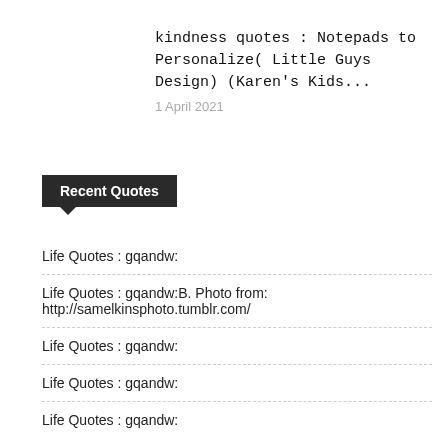kindness quotes : Notepads to Personalize( Little Guys Design) (Karen's Kids...
1 April 2021
Recent Quotes
Life Quotes : gqandw:
Life Quotes : gqandw:B. Photo from: http://samelkinsphoto.tumblr.com/
Life Quotes : gqandw:
Life Quotes : gqandw:
Life Quotes : gqandw: